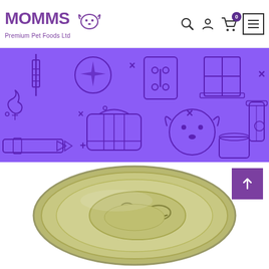[Figure (logo): MOMMS Premium Pet Foods Ltd logo with dog icon in purple]
[Figure (illustration): Purple banner background with pet-related line art icons: syringe, sparkle circle, bone tag, window grid, x marks, pet carrier, dog face, collar/belt, food can, and other pet icons in dark purple outline on medium purple background]
[Figure (photo): Top-down photo of a round pet food can lid with metallic olive/silver finish and a ring pull tab visible]